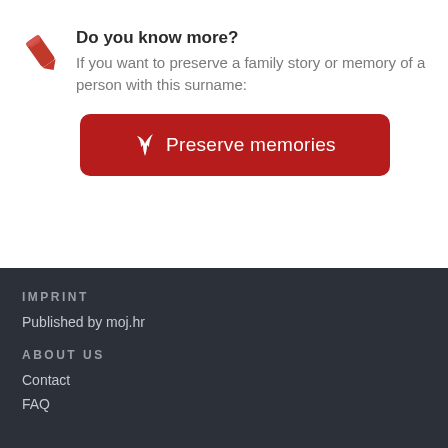Do you know more?
If you want to preserve a family story or memory of a person with this surname:
[Figure (illustration): Red button with feather/quill icon labeled 'Preserve memories']
IMPRINT
Published by moj.hr
ABOUT US
Contact
FAQ